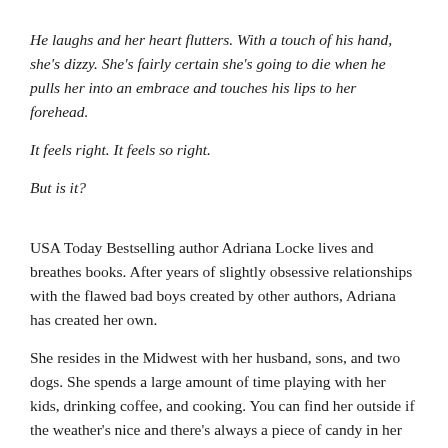He laughs and her heart flutters. With a touch of his hand, she's dizzy. She's fairly certain she's going to die when he pulls her into an embrace and touches his lips to her forehead.
It feels right. It feels so right.
But is it?
USA Today Bestselling author Adriana Locke lives and breathes books. After years of slightly obsessive relationships with the flawed bad boys created by other authors, Adriana has created her own.
She resides in the Midwest with her husband, sons, and two dogs. She spends a large amount of time playing with her kids, drinking coffee, and cooking. You can find her outside if the weather's nice and there's always a piece of candy in her pocket.
For sneak peeks, giveaways, and more, please join Adriana's